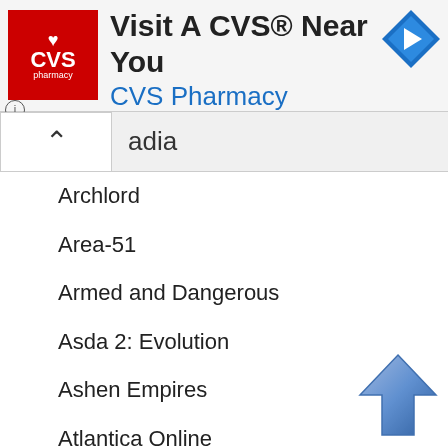[Figure (screenshot): CVS Pharmacy advertisement banner with red logo, text 'Visit A CVS Near You / CVS Pharmacy', and blue navigation diamond icon]
adia
Archlord
Area-51
Armed and Dangerous
Asda 2: Evolution
Ashen Empires
Atlantica Online
Audition
Aura: Fate of the Ages
Avencast: Rise of the Mage
B
Back to the Future: The Game
Baldur's Gate